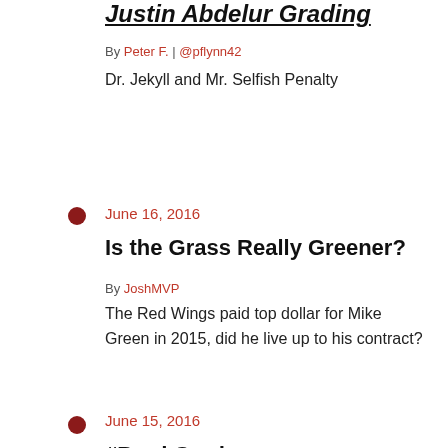Justin Abdelur Grading
By Peter F. | @pflynn42
Dr. Jekyll and Mr. Selfish Penalty
June 16, 2016
Is the Grass Really Greener?
By JoshMVP
The Red Wings paid top dollar for Mike Green in 2015, did he live up to his contract?
June 15, 2016
#Brad Grades
By KTBauer | @Kyle_Bauer
Ken Holland brought in the once-elite veteran center to fill a second line and second unit powerplay void, but he seemed out of place from the beginning.